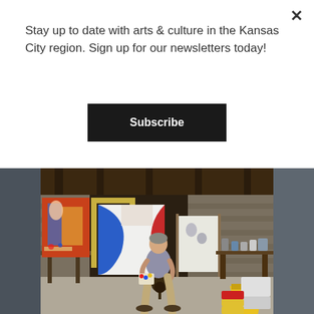Stay up to date with arts & culture in the Kansas City region. Sign up for our newsletters today!
Subscribe
[Figure (photo): An artist sits on a stool in a rustic stone-walled basement studio, looking at a small canvas or palette in his hands. Colorful large paintings lean against the walls around him. Art supplies, paint buckets, and brushes are visible throughout the space.]